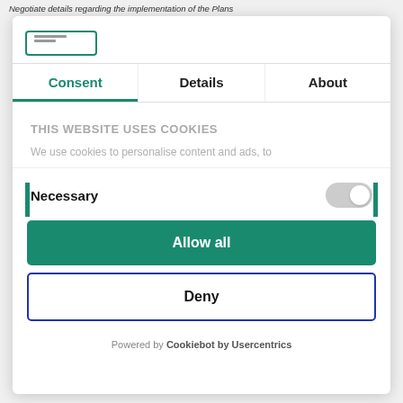Negotiate details regarding the implementation of the Plans
[Figure (logo): Green-bordered logo box with two grey lines]
Consent | Details | About
THIS WEBSITE USES COOKIES
We use cookies to personalise content and ads, to
Necessary
Allow all
Deny
Powered by Cookiebot by Usercentrics